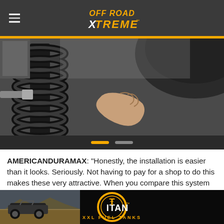Off Road Xtreme
[Figure (photo): Close-up photo of a hand holding a white disc/spacer next to a black coil spring shock absorber on a vehicle]
AMERICANDURAMAX: “Honestly, the installation is easier than it looks. Seriously. Not having to pay for a shop to do this makes these very attractive. When you compare this system to an airbag system or any other rear-load system, this is just so much simpler. This is
[Figure (photo): Advertisement banner for Titan XXL Fuel Tanks showing an off-road vehicle in desert terrain and the Titan logo with XXL Fuel Tanks text]